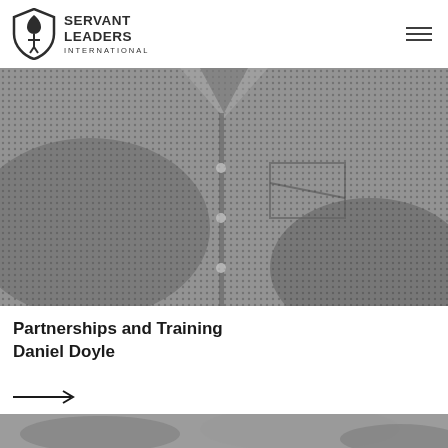SERVANT LEADERS INTERNATIONAL
[Figure (photo): Black and white close-up photo of a man's torso wearing a patterned button-up shirt with a chest pocket]
Partnerships and Training
Daniel Doyle
[Figure (photo): Black and white blurred outdoor photo, bottom of page]